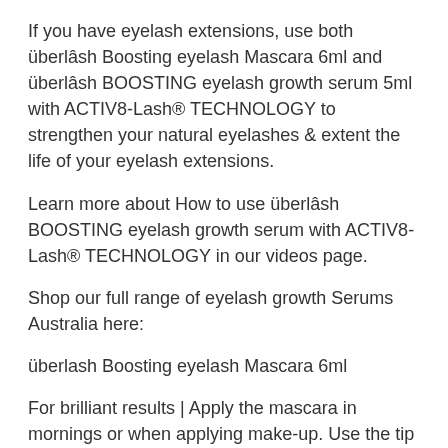If you have eyelash extensions, use both überlâsh Boosting eyelash Mascara 6ml and überlâsh BOOSTING eyelash growth serum 5ml with ACTIV8-Lash® TECHNOLOGY to strengthen your natural eyelashes & extent the life of your eyelash extensions.
Learn more about How to use überlâsh BOOSTING eyelash growth serum with ACTIV8-Lash® TECHNOLOGY in our videos page.
Shop our full range of eyelash growth Serums Australia here:
überlash Boosting eyelash Mascara 6ml
For brilliant results | Apply the mascara in mornings or when applying make-up. Use the tip of the wand to apply mascara on the lashes in the inner and outer corner of the eye. Repeat application depending on the volume of mascara you wish to add to your lashes. For best eyelash boosting results, use with überlash Boosting Eyelash serum at night after removing mascara.